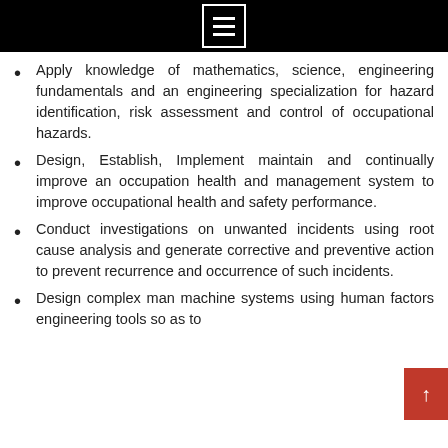Menu icon / navigation bar
Apply knowledge of mathematics, science, engineering fundamentals and an engineering specialization for hazard identification, risk assessment and control of occupational hazards.
Design, Establish, Implement maintain and continually improve an occupation health and management system to improve occupational health and safety performance.
Conduct investigations on unwanted incidents using root cause analysis and generate corrective and preventive action to prevent recurrence and occurrence of such incidents.
Design complex man machine systems using human factors engineering tools so as to